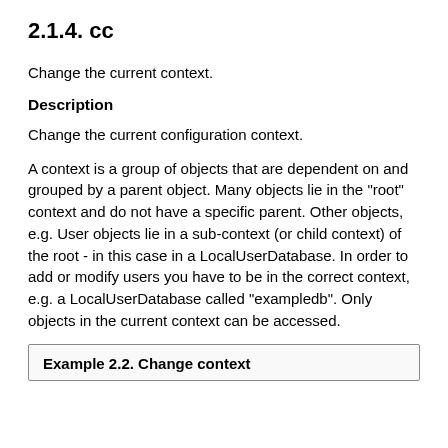2.1.4. cc
Change the current context.
Description
Change the current configuration context.
A context is a group of objects that are dependent on and grouped by a parent object. Many objects lie in the "root" context and do not have a specific parent. Other objects, e.g. User objects lie in a sub-context (or child context) of the root - in this case in a LocalUserDatabase. In order to add or modify users you have to be in the correct context, e.g. a LocalUserDatabase called "exampledb". Only objects in the current context can be accessed.
Example 2.2. Change context